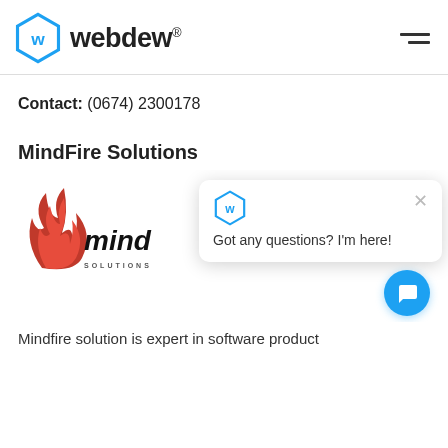webdew®
Contact: (0674) 2300178
MindFire Solutions
[Figure (logo): MindFire logo with red flame and 'mind' wordmark, partially obscured by chat popup]
[Figure (screenshot): Chat popup widget with webdew hexagon logo, close button, and message 'Got any questions? I'm here!' plus teal chat bubble button]
Mindfire solution is expert in software product